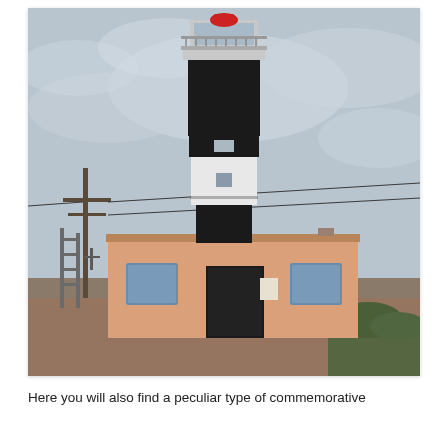[Figure (photo): A black and white striped cylindrical lighthouse tower rising above a single-story salmon/terracotta colored building with blue windows and a dark doorway. The sky is overcast. Utility poles and wires are visible to the left. The building has a flat roof with small structures on it.]
Here you will also find a peculiar type of commemorative